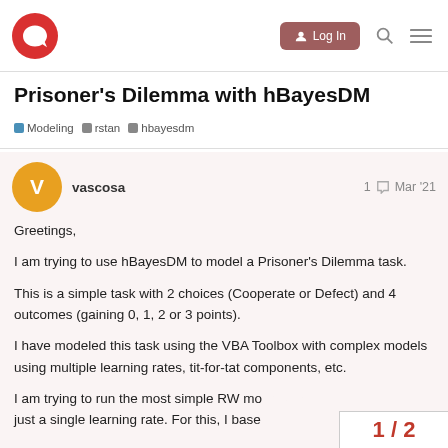Navigation bar with logo, Log In button, search and menu icons
Prisoner's Dilemma with hBayesDM
Modeling  rstan  hbayesdm
vascosa  1  Mar '21
Greetings,

I am trying to use hBayesDM to model a Prisoner's Dilemma task.

This is a simple task with 2 choices (Cooperate or Defect) and 4 outcomes (gaining 0, 1, 2 or 3 points).

I have modeled this task using the VBA Toolbox with complex models using multiple learning rates, tit-for-tat components, etc.

I am trying to run the most simple RW moc just a single learning rate. For this, I basec
1 / 2